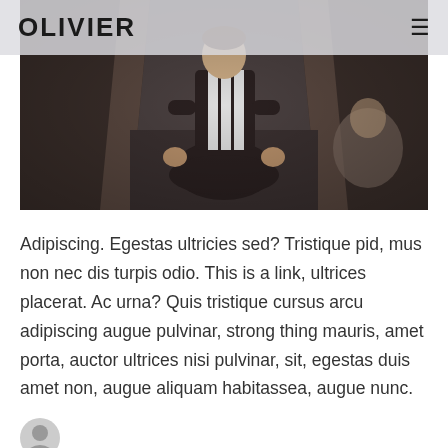OLIVIER
[Figure (photo): A person wearing a black and white striped sports jersey standing in a dark corridor or hallway, viewed from above. Another person is partially visible in the background on the right.]
Adipiscing. Egestas ultricies sed? Tristique pid, mus non nec dis turpis odio. This is a link, ultrices placerat. Ac urna? Quis tristique cursus arcu adipiscing augue pulvinar, strong thing mauris, amet porta, auctor ultrices nisi pulvinar, sit, egestas duis amet non, augue aliquam habitassea, augue nunc.
[Figure (illustration): Small circular avatar icon at the bottom left]